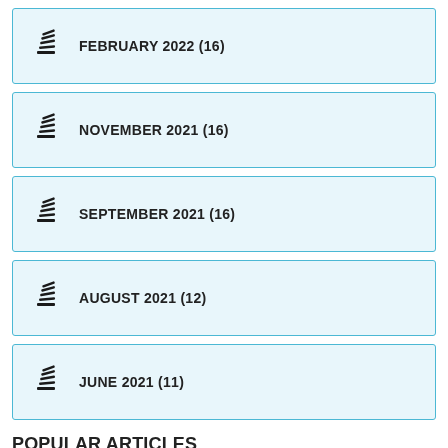FEBRUARY 2022 (16)
NOVEMBER 2021 (16)
SEPTEMBER 2021 (16)
AUGUST 2021 (12)
JUNE 2021 (11)
POPULAR ARTICLES
Iron Determination - A Review of Analytical Methods
Solubility of Oxalic Acid